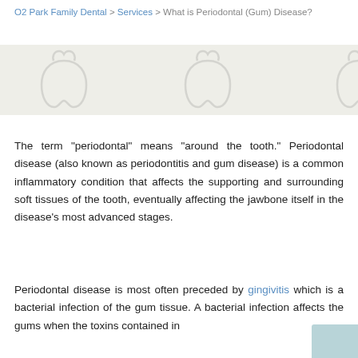O2 Park Family Dental > Services > What is Periodontal (Gum) Disease?
[Figure (illustration): Light grey banner with faint tooth outline icons on a beige/grey background]
The term "periodontal" means "around the tooth." Periodontal disease (also known as periodontitis and gum disease) is a common inflammatory condition that affects the supporting and surrounding soft tissues of the tooth, eventually affecting the jawbone itself in the disease's most advanced stages.
Periodontal disease is most often preceded by gingivitis which is a bacterial infection of the gum tissue. A bacterial infection affects the gums when the toxins contained in